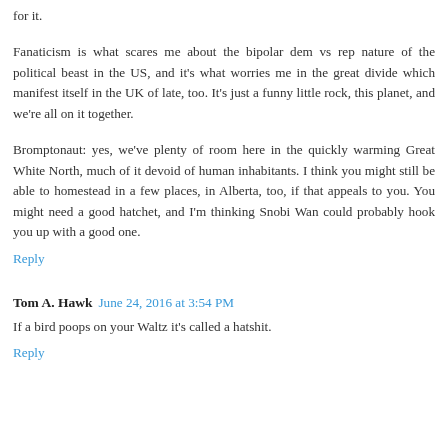for it.
Fanaticism is what scares me about the bipolar dem vs rep nature of the political beast in the US, and it's what worries me in the great divide which manifest itself in the UK of late, too. It's just a funny little rock, this planet, and we're all on it together.
Bromptonaut: yes, we've plenty of room here in the quickly warming Great White North, much of it devoid of human inhabitants. I think you might still be able to homestead in a few places, in Alberta, too, if that appeals to you. You might need a good hatchet, and I'm thinking Snobi Wan could probably hook you up with a good one.
Reply
Tom A. Hawk  June 24, 2016 at 3:54 PM
If a bird poops on your Waltz it's called a hatshit.
Reply